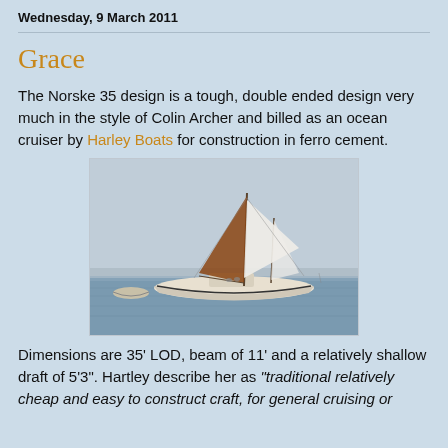Wednesday, 9 March 2011
Grace
The Norske 35 design is a tough, double ended design very much in the style of Colin Archer and billed as an ocean cruiser by Harley Boats for construction in ferro cement.
[Figure (photo): A traditional double-ended sailing vessel with brown and white sails on calm water, with a small dinghy nearby.]
Dimensions are 35' LOD, beam of 11' and a relatively shallow draft of 5'3". Hartley describe her as "traditional relatively cheap and easy to construct craft, for general cruising or